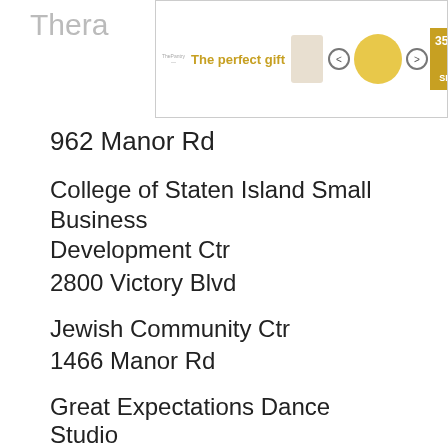[Figure (other): Advertisement banner overlay showing 'The perfect gift' with a food pot image, navigation arrows, and '35% OFF + FREE SHIPPING' offer in gold]
Thera
962 Manor Rd
College of Staten Island Small Business Development Ctr
2800 Victory Blvd
Jewish Community Ctr
1466 Manor Rd
Great Expectations Dance Studio
1754 Victory Blvd
Children at Play